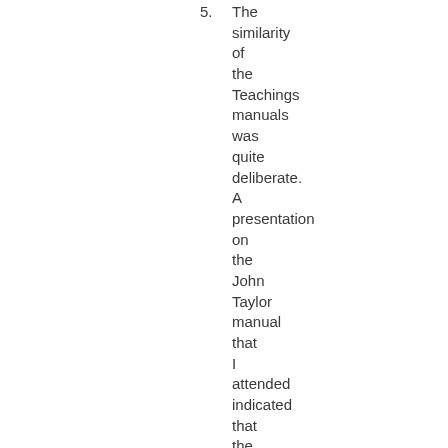5. The similarity of the Teachings manuals was quite deliberate. A presentation on the John Taylor manual that I attended indicated that the manuals were created by deciding